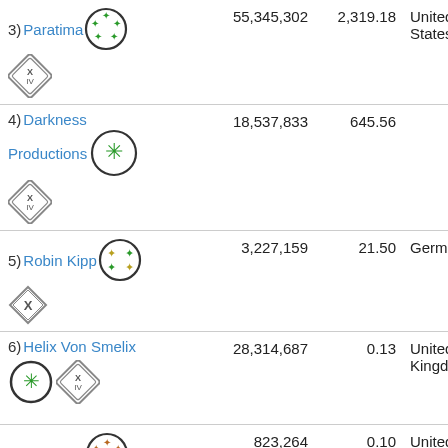3) Paratima  55,345,302  2,319.18  United States
4) Darkness Productions  18,537,833  645.56
5) Robin Kipp  3,227,159  21.50  Germany
6) Helix Von Smelix  28,314,687  0.13  United Kingdom
7) Longbow  823,264  0.10  United States